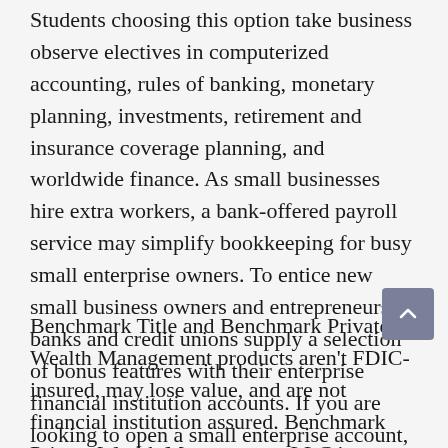Students choosing this option take business observe electives in computerized accounting, rules of banking, monetary planning, investments, retirement and insurance coverage planning, and worldwide finance. As small businesses hire extra workers, a bank-offered payroll service may simplify bookkeeping for busy small enterprise owners. To entice new small business owners and entrepreneurs, banks and credit unions supply a selection of bonus features with their enterprise financial institution accounts. If you are looking to open a small enterprise account, there are some well-liked further services you need to look for.
Benchmark Title and Benchmark Private Wealth Management products aren't FDIC-insured, may lose value, and are not financial institution assured. Benchmark Private Wealth Management, LLC is a